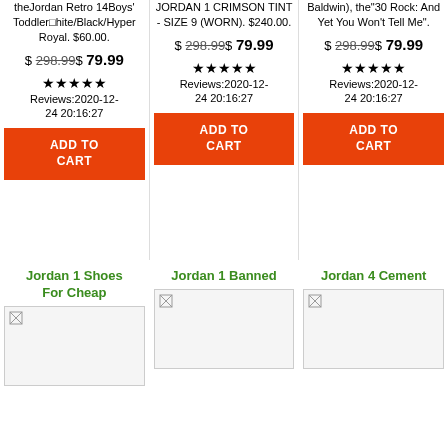theJordan Retro 14Boys' Toddler hite/Black/Hyper Royal. $60.00.
JORDAN 1 CRIMSON TINT - SIZE 9 (WORN). $240.00.
Baldwin), the"30 Rock: And Yet You Won't Tell Me".
$ 298.99$ 79.99
$ 298.99$ 79.99
$ 298.99$ 79.99
★★★★★ Reviews:2020-12-24 20:16:27
★★★★★ Reviews:2020-12-24 20:16:27
★★★★★ Reviews:2020-12-24 20:16:27
ADD TO CART
ADD TO CART
ADD TO CART
Jordan 1 Shoes For Cheap
Jordan 1 Banned
Jordan 4 Cement